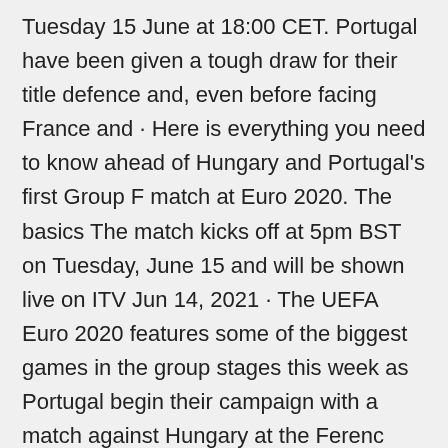Tuesday 15 June at 18:00 CET. Portugal have been given a tough draw for their title defence and, even before facing France and · Here is everything you need to know ahead of Hungary and Portugal's first Group F match at Euro 2020. The basics The match kicks off at 5pm BST on Tuesday, June 15 and will be shown live on ITV Jun 14, 2021 · The UEFA Euro 2020 features some of the biggest games in the group stages this week as Portugal begin their campaign with a match against Hungary at the Ferenc Puskas Stadium on Tuesday. · Defending champions Portugal will begin their title defence on Tuesday when they face Hungary in their opening fixture of UEFA EURO 2020. The Selecaos won the last edition of the tournament in 2016, beating France in the final courtesy of an extra-time strike from Eder. Jun 12, 2021 · Hungary vs Portugal Euro 2020, Group F Date: Tuesday 15th June 2021 Kick off...